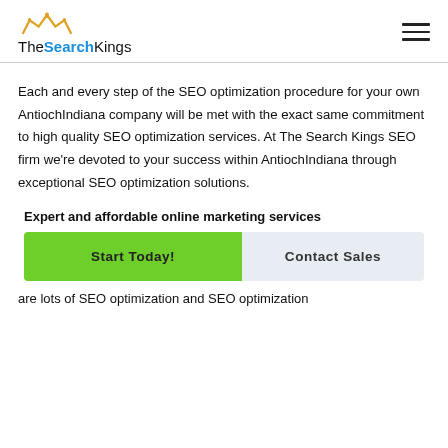[Figure (logo): TheSearchKings logo with crown icon above text. 'The' in black, 'Search' in blue, 'Kings' in black.]
Each and every step of the SEO optimization procedure for your own AntiochIndiana company will be met with the exact same commitment to high quality SEO optimization services. At The Search Kings SEO firm we're devoted to your success within AntiochIndiana through exceptional SEO optimization solutions.
Expert and affordable online marketing services
Start Today!
Contact Sales
are lots of SEO optimization and SEO optimization